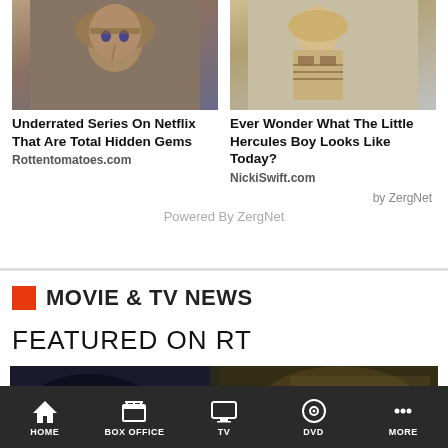[Figure (photo): Thumbnail image of a young blonde woman with face markings, from a TV series]
[Figure (photo): Thumbnail image of a muscular young boy, Little Hercules]
Underrated Series On Netflix That Are Total Hidden Gems
Rottentomatoes.com
Ever Wonder What The Little Hercules Boy Looks Like Today?
NickiSwift.com
by ZergNet
Powered By ZergNet
MOVIE & TV NEWS
FEATURED ON RT
[Figure (screenshot): Featured content image strip showing dark cinematic scenes]
HOME   BOX OFFICE   TV   DVD   MORE